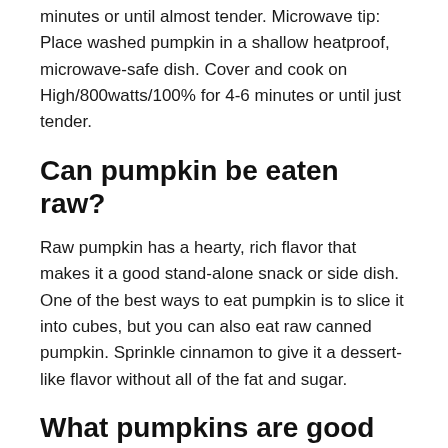minutes or until almost tender. Microwave tip: Place washed pumpkin in a shallow heatproof, microwave-safe dish. Cover and cook on High/800watts/100% for 4-6 minutes or until just tender.
Can pumpkin be eaten raw?
Raw pumpkin has a hearty, rich flavor that makes it a good stand-alone snack or side dish. One of the best ways to eat pumpkin is to slice it into cubes, but you can also eat raw canned pumpkin. Sprinkle cinnamon to give it a dessert-like flavor without all of the fat and sugar.
What pumpkins are good for